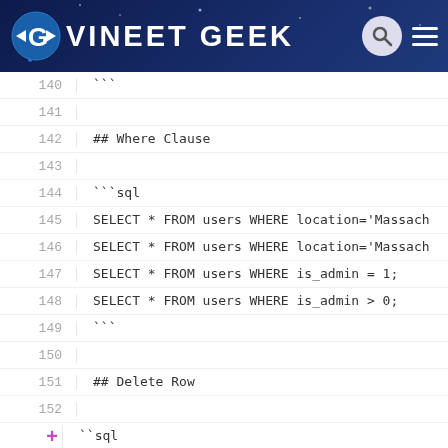VINEET GEEK
140   ```
141
142   ## Where Clause
143
144   ```sql
145   SELECT * FROM users WHERE location='Massach
146   SELECT * FROM users WHERE location='Massach
147   SELECT * FROM users WHERE is_admin = 1;
148   SELECT * FROM users WHERE is_admin > 0;
149   ```
150
151   ## Delete Row
152
153   ```sql
154   DELETE FROM users WHERE id = 6;
155   ```
156